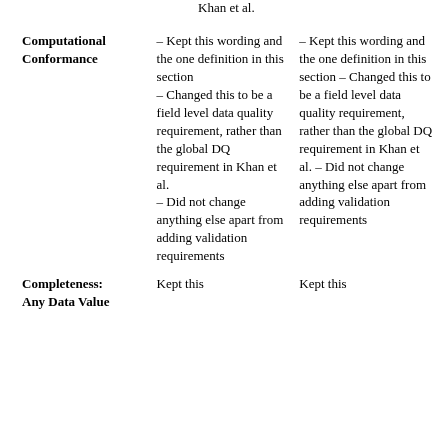Khan et al.
|  |  |  |
| --- | --- | --- |
| Computational Conformance | – Kept this wording and the one definition in this section – Changed this to be a field level data quality requirement, rather than the global DQ requirement in Khan et al. – Did not change anything else apart from adding validation requirements | – Kept this wording and the one definition in this section – Changed this to be a field level data quality requirement, rather than the global DQ requirement in Khan et al. – Did not change anything else apart from adding validation requirements |
| Completeness: Any Data Value | Kept this | Kept this |